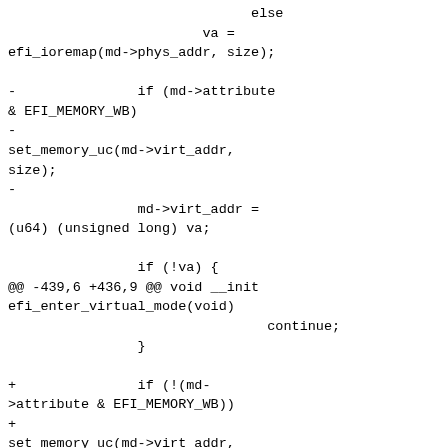else
                va =
efi_ioremap(md->phys_addr, size);

-               if (md->attribute
& EFI_MEMORY_WB)
-
set_memory_uc(md->virt_addr,
size);
-
                md->virt_addr =
(u64) (unsigned long) va;

                if (!va) {
@@ -439,6 +436,9 @@ void __init
efi_enter_virtual_mode(void)
                                continue;
                }

+               if (!(md-
>attribute & EFI_MEMORY_WB))
+
set_memory_uc(md->virt_addr,
size);
+
                systab = (u64)
(unsigned long) efi_phys.systab;
                if (md->phys_addr
<= systab && systab < end) {
                        systab +=